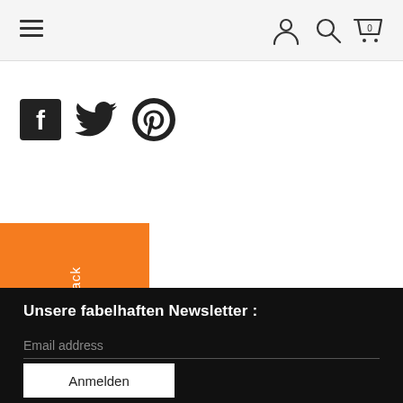Navigation bar with hamburger menu, user icon, search icon, and cart icon (0)
[Figure (illustration): Social media icons: Facebook (filled square), Twitter (bird), Pinterest (P circle)]
[Figure (illustration): Feedback tab - orange vertical rectangle with white rotated text 'Feedback']
Unsere fabelhaften Newsletter :
Email address
Anmelden